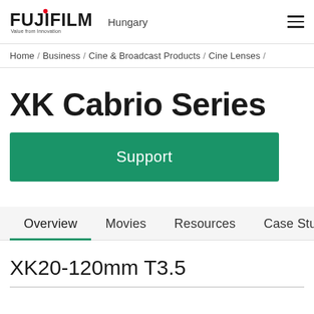FUJIFILM Hungary [logo] [menu]
Home / Business / Cine & Broadcast Products / Cine Lenses /
XK Cabrio Series
Support
Overview | Movies | Resources | Case Studies
XK20-120mm T3.5